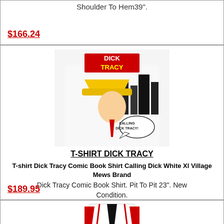Shoulder To Hem39".
$166.24
[Figure (photo): Dick Tracy comic book t-shirt product photo showing the Dick Tracy character with yellow hat on white shirt with city skyline background and 'Calling Dick Tracy' speech bubble]
T-SHIRT DICK TRACY
T-shirt Dick Tracy Comic Book Shirt Calling Dick White Xl Village Mews Brand
Dick Tracy Comic Book Shirt. Pit To Pit 23". New Condition.
$189.95
[Figure (photo): White and red sports jersey/shirt product photo, partially visible at bottom of page]